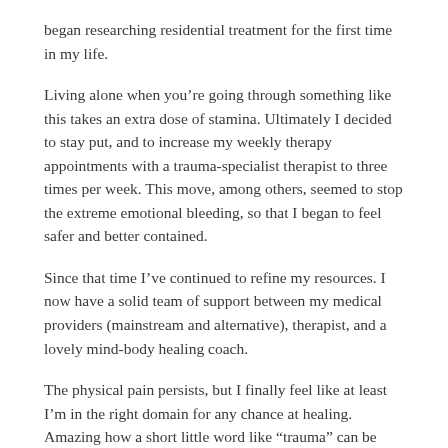began researching residential treatment for the first time in my life.
Living alone when you’re going through something like this takes an extra dose of stamina. Ultimately I decided to stay put, and to increase my weekly therapy appointments with a trauma-specialist therapist to three times per week. This move, among others, seemed to stop the extreme emotional bleeding, so that I began to feel safer and better contained.
Since that time I’ve continued to refine my resources. I now have a solid team of support between my medical providers (mainstream and alternative), therapist, and a lovely mind-body healing coach.
The physical pain persists, but I finally feel like at least I’m in the right domain for any chance at healing. Amazing how a short little word like “trauma” can be such a game-changer. I’m learning things about myself and my life that are blowing my